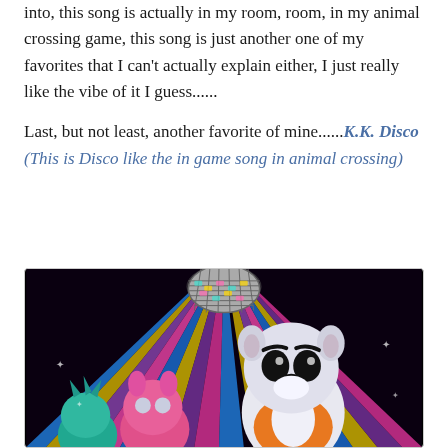into, this song is actually in my room, room, in my animal crossing game, this song is just another one of my favorites that I can't actually explain either, I just really like the vibe of it I guess......
Last, but not least, another favorite of mine......K.K. Disco (This is Disco like the in game song in animal crossing)
[Figure (photo): Screenshot from Animal Crossing featuring K.K. Slider (a white dog character in an orange shirt) in a disco setting with colorful radiating light rays (pink, purple, blue, yellow, gold) and a disco ball overhead. Two smaller animal characters are visible in the foreground/left.]